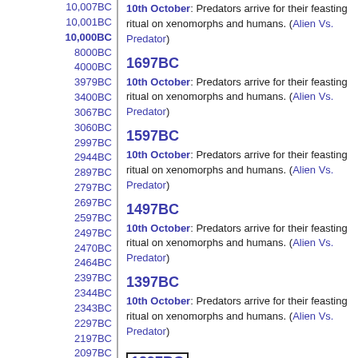10,007BC
10,001BC
10,000BC
8000BC
4000BC
3979BC
3400BC
3067BC
3060BC
2997BC
2944BC
2897BC
2797BC
2697BC
2597BC
2497BC
2470BC
2464BC
2397BC
2344BC
2343BC
2297BC
2197BC
2097BC
2000BC
1997BC
1991BC
1981BC
1916BC
1906BC
1905BC
1897BC
1892BC
10,000BC
10th October: Predators arrive for their feasting ritual on xenomorphs and humans. (Alien Vs. Predator)
1697BC
10th October: Predators arrive for their feasting ritual on xenomorphs and humans. (Alien Vs. Predator)
1597BC
10th October: Predators arrive for their feasting ritual on xenomorphs and humans. (Alien Vs. Predator)
1497BC
10th October: Predators arrive for their feasting ritual on xenomorphs and humans. (Alien Vs. Predator)
1397BC
10th October: Predators arrive for their feasting ritual on xenomorphs and humans. (Alien Vs. Predator)
1297BC